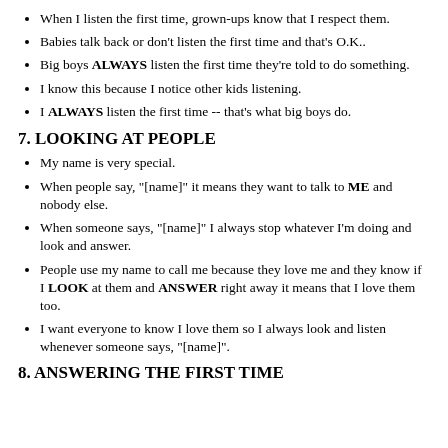When I listen the first time, grown-ups know that I respect them.
Babies talk back or don't listen the first time and that's O.K..
Big boys ALWAYS listen the first time they're told to do something.
I know this because I notice other kids listening.
I ALWAYS listen the first time -- that's what big boys do.
7. LOOKING AT PEOPLE
My name is very special.
When people say, "[name]" it means they want to talk to ME and nobody else.
When someone says, "[name]" I always stop whatever I'm doing and look and answer.
People use my name to call me because they love me and they know if I LOOK at them and ANSWER right away it means that I love them too.
I want everyone to know I love them so I always look and listen whenever someone says, "[name]".
8. ANSWERING THE FIRST TIME